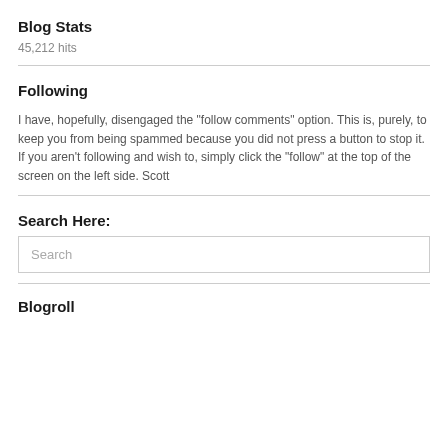Blog Stats
45,212 hits
Following
I have, hopefully, disengaged the "follow comments" option. This is, purely, to keep you from being spammed because you did not press a button to stop it. If you aren't following and wish to, simply click the "follow" at the top of the screen on the left side. Scott
Search Here:
Search
Blogroll